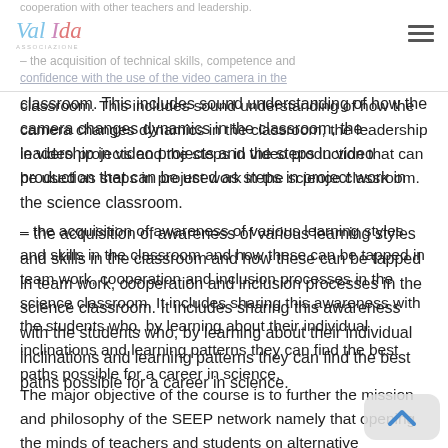cooperation with other teachers and leadership.
– the acquisition of technical skills, competence and confidence with the use of the video camera in the classroom. This includes sound understanding of how the camera changes dynamics in the classroom, the leadership in video projects and the steps in video production that can be used as steps in project work in the science classroom.
– the acquisition of awareness of various learning styles and skills in the classroom and how these can be tapped in team work, cooperation and inclusion processes in the science classroom. It includes sharing this awareness with the students who, by learning about their individual inclinations and learning patterns they can find the best paths possible for a career in science.
The major objective of the course is to further the mission and philosophy of the SEEP network namely that opening the minds of teachers and students on alternative applications and careers in science and foresight. Although the course has specific objectives and is classroom based, it